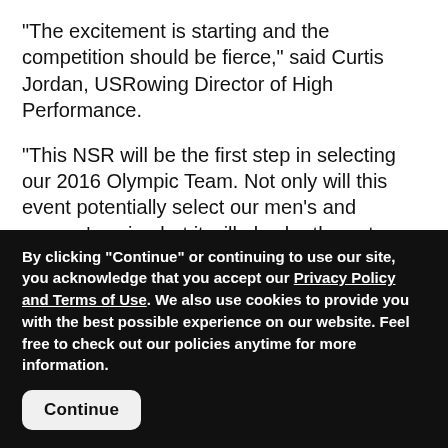"The excitement is starting and the competition should be fierce," said Curtis Jordan, USRowing Director of High Performance.
“This NSR will be the first step in selecting our 2016 Olympic Team. Not only will this event potentially select our men’s and women’s pairs, but it will also be the gateway into the men’s and women’s selection camps.”
Racing at NSR I is scheduled to begin Monday morning at 10 a.m. local time with time trials. Heats follow Tuesday.
By clicking "Continue" or continuing to use our site, you acknowledge that you accept our Privacy Policy and Terms of Use. We also use cookies to provide you with the best possible experience on our website. Feel free to check out our policies anytime for more information.
Continue